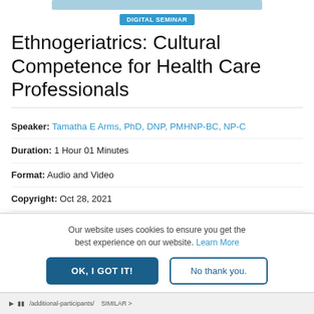[Figure (illustration): Decorative banner image at top of page, light blue]
DIGITAL SEMINAR
Ethnogeriatrics: Cultural Competence for Health Care Professionals
Speaker: Tamatha E Arms, PhD, DNP, PMHNP-BC, NP-C
Duration: 1 Hour 01 Minutes
Format: Audio and Video
Copyright: Oct 28, 2021
Product Code: POS078370
Media Type: Digital Seminar
Our website uses cookies to ensure you get the best experience on our website. Learn More
OK, I GOT IT!
No thank you.